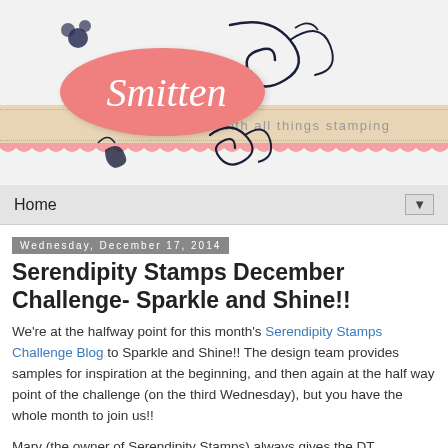[Figure (logo): Smitten with all things stamping blog logo: pink oval label with italic 'Smitten' text, decorative black swirls and flowers, tan banner ribbon reading 'with all things stamping', pink scallop border at bottom]
Home ▼
Wednesday, December 17, 2014
Serendipity Stamps December Challenge- Sparkle and Shine!!
We're at the halfway point for this month's Serendipity Stamps Challenge Blog to Sparkle and Shine!! The design team provides samples for inspiration at the beginning, and then again at the half way point of the challenge (on the third Wednesday), but you have the whole month to join us!!
Mary (the owner of Serendipity Stamps) always gives the DT